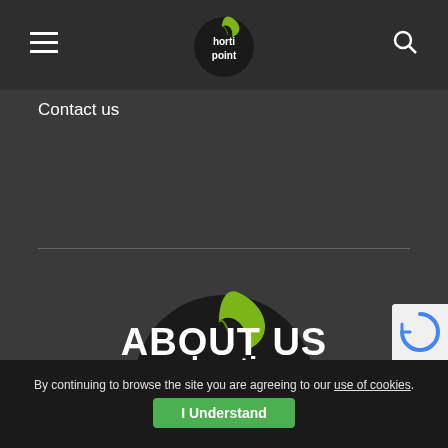hortipoint logo, hamburger menu, search icon
Contact us
[Figure (logo): Hortipoint logo: dark circular background with white bold text 'horti point' and a green leaf on top]
ABOUT US
By continuing to browse the site you are agreeing to our use of cookies.
I Understand